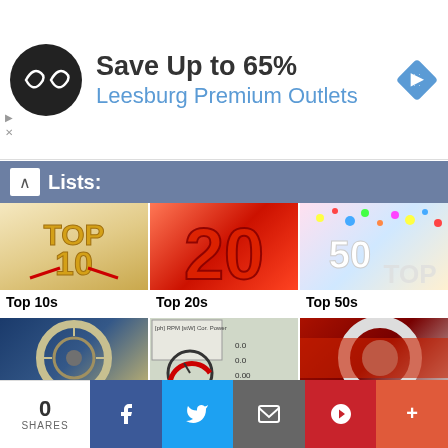[Figure (screenshot): Advertisement banner for Leesburg Premium Outlets showing Save Up to 65% with a circular black logo and blue navigation arrow icon]
Lists:
[Figure (photo): Top 10s golden trophy image]
Top 10s
[Figure (photo): Top 20s red balloon numbers image]
Top 20s
[Figure (photo): Top 50s white letters with colorful confetti]
Top 50s
[Figure (photo): Cars by Decade vintage car wheel close-up]
Cars by Decade
[Figure (photo): Power and Torque dashboard gauge readout]
Power & Torque
[Figure (photo): Acceleration Lists spinning tire burnout]
Acceleration Lists
[Figure (photo): Partial bottom row image 1 - engine parts]
[Figure (photo): Partial bottom row image 2 - wheel/gauge]
0 SHARES